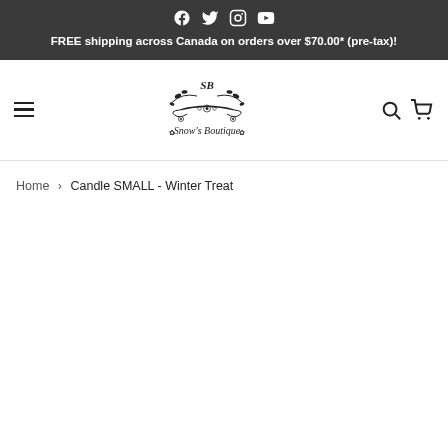Social icons: Facebook, Twitter, Instagram, YouTube
FREE shipping across Canada on orders over $70.00* (pre-tax)!
[Figure (logo): Snow's Boutique logo with decorative floral and script design, SB monogram]
Home › Candle SMALL - Winter Treat